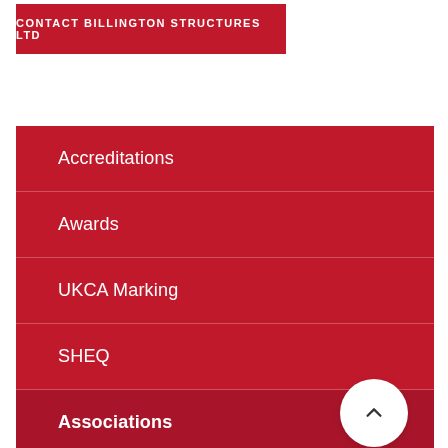CONTACT BILLINGTON STRUCTURES LTD
Accreditations
Awards
UKCA Marking
SHEQ
Associations
Sustainability